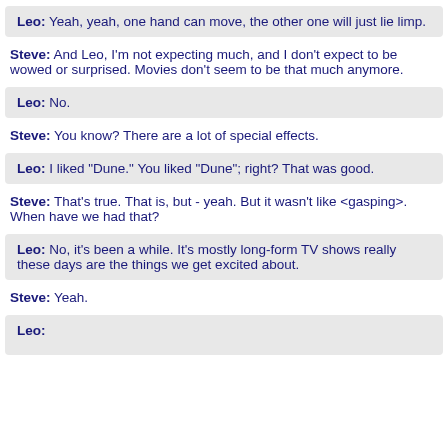Leo: Yeah, yeah, one hand can move, the other one will just lie limp.
Steve: And Leo, I'm not expecting much, and I don't expect to be wowed or surprised. Movies don't seem to be that much anymore.
Leo: No.
Steve: You know? There are a lot of special effects.
Leo: I liked "Dune." You liked "Dune"; right? That was good.
Steve: That's true. That is, but - yeah. But it wasn't like <gasping>. When have we had that?
Leo: No, it's been a while. It's mostly long-form TV shows really these days are the things we get excited about.
Steve: Yeah.
Leo: ...